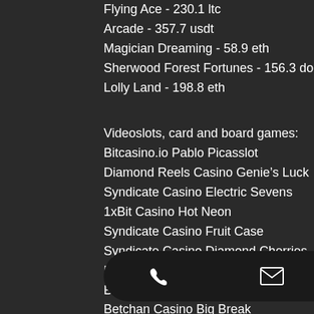Flying Ace - 230.1 ltc
Arcade - 357.7 usdt
Magician Dreaming - 58.9 eth
Sherwood Forest Fortunes - 156.3 dog
Lolly Land - 198.8 eth
Videoslots, card and board games:
Bitcasino.io Pablo Picasslot
Diamond Reels Casino Genie’s Luck
Syndicate Casino Electric Sevens
1xBit Casino Hot Neon
Syndicate Casino Fruit Case
Syndicate Casino Diamond Cherries
BitcoinCasino.us Jokerizer
Bspin.io Casino The Land of Heroes
Betchan Casino Big Break
Bspin.io Casino A Christmas Carol
King Billy Casino Beetle Jewels
Vegas ...
BetCh...
BitStarz Casino Firemen